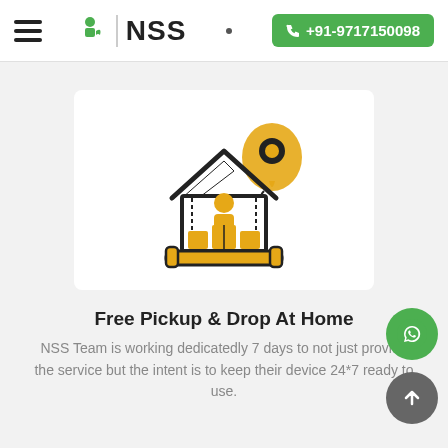≡  NSS  •  +91-9717150098
[Figure (illustration): House with person inside and a location pin map marker, indicating home pickup and drop service. Illustration uses black outlines with yellow/amber fill for the house interior, person, boxes, and location marker.]
Free Pickup & Drop At Home
NSS Team is working dedicatedly 7 days to not just provide the service but the intent is to keep their device 24*7 ready to use.